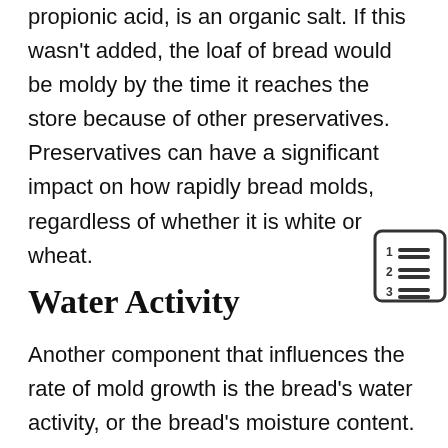propionic acid, is an organic salt. If this wasn't added, the loaf of bread would be moldy by the time it reaches the store because of other preservatives. Preservatives can have a significant impact on how rapidly bread molds, regardless of whether it is white or wheat.
Water Activity
Another component that influences the rate of mold growth is the bread's water activity, or the bread's moisture content. Measure water activity by placing a small bit of bread in an airtight container and observing how